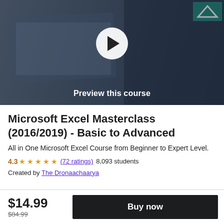[Figure (screenshot): Video thumbnail showing a person working on a laptop with course preview overlay, play button, and 'Preview this course' label]
Microsoft Excel Masterclass (2016/2019) - Basic to Advanced
All in One Microsoft Excel Course from Beginner to Expert Level.
4.3 ★★★★½ (72 ratings)  8,093 students
Created by The Dronaachaarya
$14.99  $84.99  Buy now